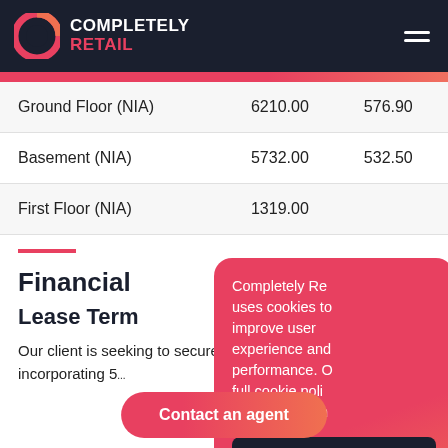COMPLETELY RETAIL
|  |  |  |
| --- | --- | --- |
| Ground Floor (NIA) | 6210.00 | 576.90 |
| Basement (NIA) | 5732.00 | 532.50 |
| First Floor (NIA) | 1319.00 |  |
Financial
Lease Term
Our client is seeking to secure a new 10... incorporating 5...
Completely Retail uses cookies to improve user experience and performance. Our full cookie policy can be found here.
I accept
I do not ac
Contact an agent